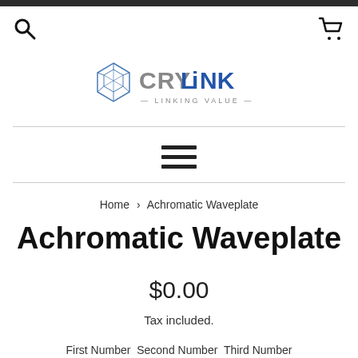[Figure (logo): CryLink logo with geometric crystal icon and text 'CRYLINK — LINKING VALUE —']
Home › Achromatic Waveplate
Achromatic Waveplate
$0.00
Tax included.
First Number  Second Number  Third Number